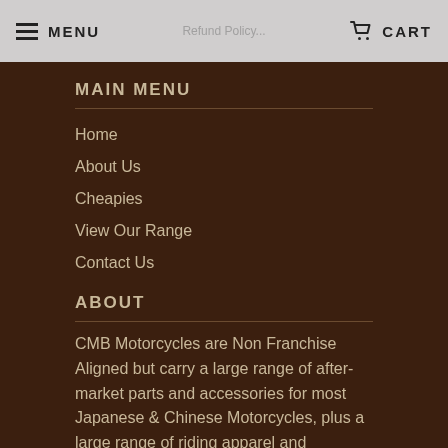MENU   CART
MAIN MENU
Home
About Us
Cheapies
View Our Range
Contact Us
ABOUT
CMB Motorcycles are Non Franchise Aligned but carry a large range of after-market parts and accessories for most Japanese & Chinese Motorcycles, plus a large range of riding apparel and protective gear for both MX and